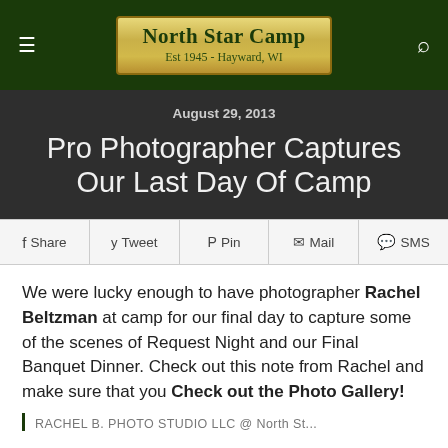North Star Camp | Est 1945 - Hayward, WI
August 29, 2013
Pro Photographer Captures Our Last Day Of Camp
Share  Tweet  Pin  Mail  SMS
We were lucky enough to have photographer Rachel Beltzman at camp for our final day to capture some of the scenes of Request Night and our Final Banquet Dinner. Check out this note from Rachel and make sure that you Check out the Photo Gallery!
RACHEL B. PHOTO STUDIO LLC @ North St...